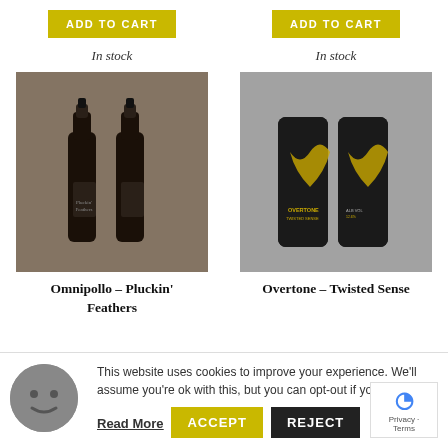ADD TO CART
In stock
ADD TO CART
In stock
[Figure (photo): Two dark beer bottles (Omnipollo Pluckin' Feathers) against a rustic wall background]
[Figure (photo): Two Overtone Twisted Sense beer cans with black and gold wavy label design]
Omnipollo – Pluckin' Feathers
Overtone – Twisted Sense
This website uses cookies to improve your experience. We'll assume you're ok with this, but you can opt-out if yo
Read More
ACCEPT
REJECT